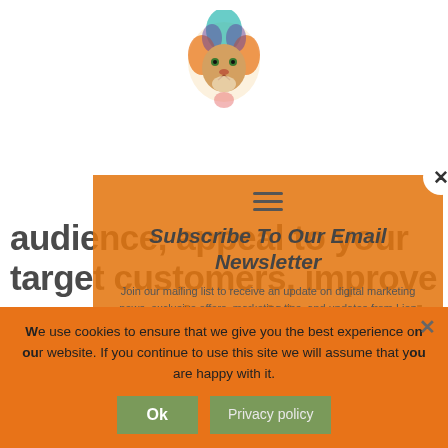[Figure (illustration): Colorful lion head logo at top center of page]
audience, appeal to your target customers, improve your search rankings and develop your thought leadership position.
Subscribe To Our Email Newsletter
Join our mailing list to receive an update on digital marketing news, exclusive offers, marketing tips, and updates from Lion Spirit Media.
We generally email once a month and promise not to send you any junk, you can unsubscribe at any time!
We use cookies to ensure that we give you the best experience on our website. If you continue to use this site we will assume that you are happy with it.
First Name
Ok
Privacy policy